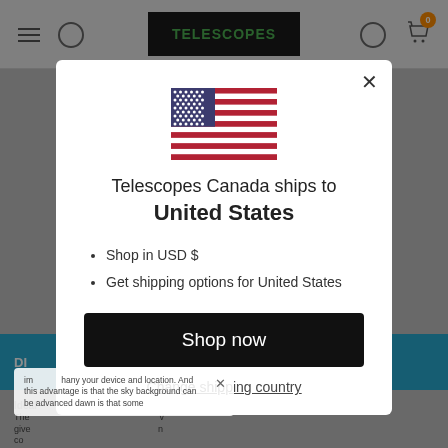[Figure (screenshot): Website header showing TELESCOPES logo in black banner with green text, hamburger menu, search icons, and shopping cart with orange badge showing 0]
[Figure (illustration): United States flag displayed in the modal dialog]
Telescopes Canada ships to United States
Shop in USD $
Get shipping options for United States
Shop now
Change shipping country